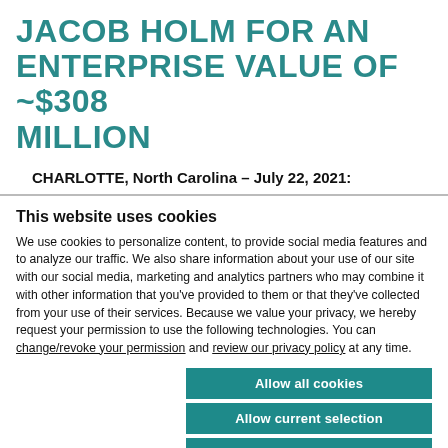JACOB HOLM FOR AN ENTERPRISE VALUE OF ~$308 MILLION
CHARLOTTE, North Carolina – July 22, 2021:
This website uses cookies
We use cookies to personalize content, to provide social media features and to analyze our traffic. We also share information about your use of our site with our social media, marketing and analytics partners who may combine it with other information that you've provided to them or that they've collected from your use of their services. Because we value your privacy, we hereby request your permission to use the following technologies. You can change/revoke your permission and review our privacy policy at any time.
Allow all cookies
Allow current selection
Use necessary cookies only
Necessary  Preferences  Statistics  Marketing  Show details